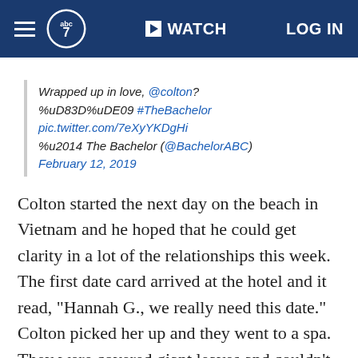ABC7 navigation bar with hamburger menu, ABC7 logo, WATCH button, LOG IN button
Wrapped up in love, @colton? %uD83D%uDE09 #TheBachelor pic.twitter.com/7eXyYKDgHi %u2014 The Bachelor (@BachelorABC) February 12, 2019
Colton started the next day on the beach in Vietnam and he hoped that he could get clarity in a lot of the relationships this week. The first date card arrived at the hotel and it read, "Hannah G., we really need this date." Colton picked her up and they went to a spa. They were covered giant leaves and couldn't stop kissing each other! It was very romantic. She gave him a massage and then a make-out session. If that